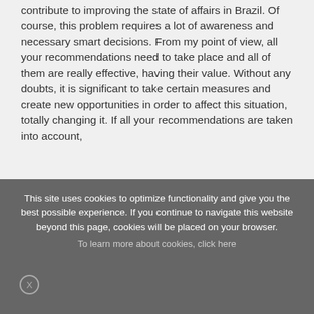contribute to improving the state of affairs in Brazil. Of course, this problem requires a lot of awareness and necessary smart decisions. From my point of view, all your recommendations need to take place and all of them are really effective, having their value. Without any doubts, it is significant to take certain measures and create new opportunities in order to affect this situation, totally changing it. If all your recommendations are taken into account,
This site uses cookies to optimize functionality and give you the best possible experience. If you continue to navigate this website beyond this page, cookies will be placed on your browser.
To learn more about cookies, click here